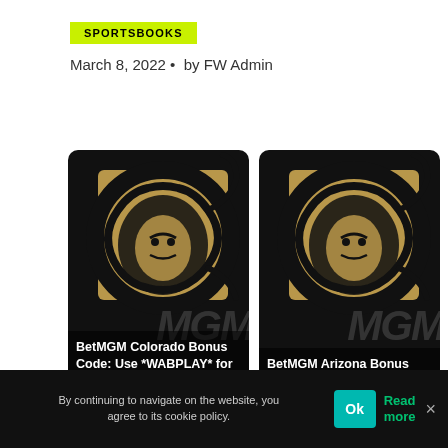SPORTSBOOKS
March 8, 2022 •  by FW Admin
[Figure (illustration): BetMGM Colorado Bonus Code card with lion logo on dark background. Text: BetMGM Colorado Bonus Code: Use *WABPLAY* for a]
[Figure (illustration): BetMGM Arizona Bonus Code card with lion logo on dark background. Text: BetMGM Arizona Bonus Code *WABPLAY* for]
By continuing to navigate on the website, you agree to its cookie policy.